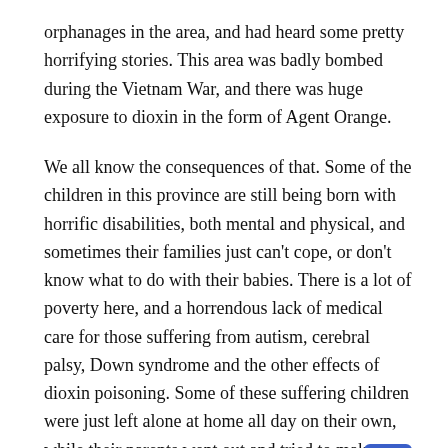orphanages in the area, and had heard some pretty horrifying stories. This area was badly bombed during the Vietnam War, and there was huge exposure to dioxin in the form of Agent Orange.
We all know the consequences of that. Some of the children in this province are still being born with horrific disabilities, both mental and physical, and sometimes their families just can't cope, or don't know what to do with their babies. There is a lot of poverty here, and a horrendous lack of medical care for those suffering from autism, cerebral palsy, Down syndrome and the other effects of dioxin poisoning. Some of these suffering children were just left alone at home all day on their own, while their parents went out and tried to make a living away from the house.
This land was The Attack Found the item...